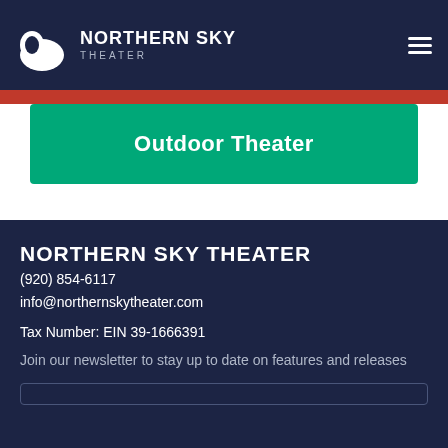NORTHERN SKY THEATER
Outdoor Theater
NORTHERN SKY THEATER
(920) 854-6117
info@northernskytheater.com
Tax Number: EIN 39-1666391
Join our newsletter to stay up to date on features and releases